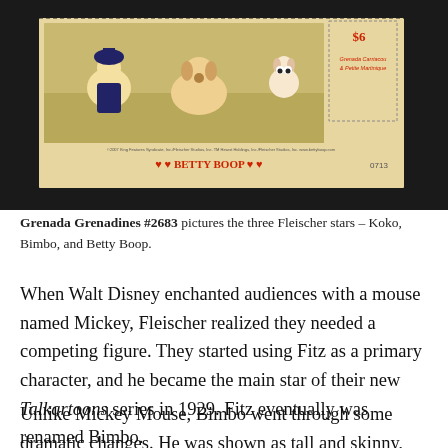[Figure (photo): A postage stamp from Grenada Grenadines showing three Fleischer cartoon characters – Koko, Bimbo, and Betty Boop – on a tan/beige background with decorative borders, perforations, and text reading '$6', 'Grenada Carriacou & Petite Martinique', 'Betty Boop', and copyright text. The stamp image is set against a dark/black background.]
Grenada Grenadines #2683 pictures the three Fleischer stars – Koko, Bimbo, and Betty Boop.
When Walt Disney enchanted audiences with a mouse named Mickey, Fleischer realized they needed a competing figure. They started using Fitz as a primary character, and he became the main star of their new Talkartoons series in 1929. Fitz eventually was renamed Bimbo.
Unlike Mickey Mouse, Bimbo went through some dramatic changes. He was shown as tall and skinny,